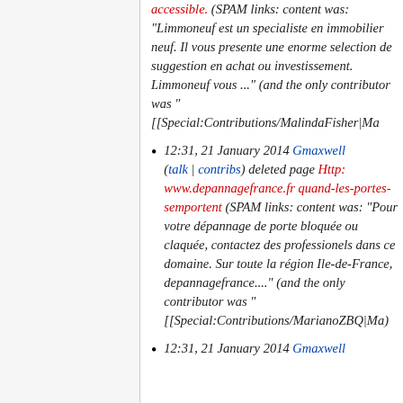accessible. (SPAM links: content was: "Limmoneuf est un specialiste en immobilier neuf. Il vous presente une enorme selection de suggestion en achat ou investissement. Limmoneuf vous ..." (and the only contributor was "[[Special:Contributions/MalindaFisher|Ma
12:31, 21 January 2014 Gmaxwell (talk | contribs) deleted page Http: www.depannagefrance.fr quand-les-portes-semportent (SPAM links: content was: "Pour votre dépannage de porte bloquée ou claquée, contactez des professionels dans ce domaine. Sur toute la région Ile-de-France, depannagefrance...." (and the only contributor was "[[Special:Contributions/MarianoZBQ|Ma)
12:31, 21 January 2014 Gmaxwell